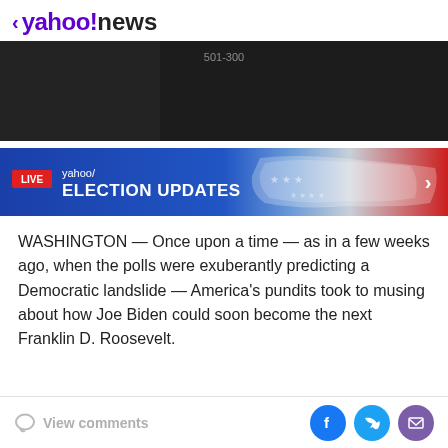< yahoo!news
[Figure (screenshot): Dark video thumbnail with text '501-300' overlaid in gray]
[Figure (infographic): Yahoo! LIVE ELECTION UPDATES banner in blue and red with US map graphic and chevron arrow]
WASHINGTON — Once upon a time — as in a few weeks ago, when the polls were exuberantly predicting a Democratic landslide — America's pundits took to musing about how Joe Biden could soon become the next Franklin D. Roosevelt.
View comments | Facebook | Twitter | Email